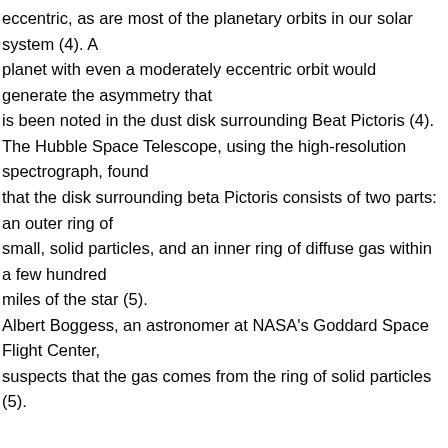eccentric, as are most of the planetary orbits in our solar system (4). A planet with even a moderately eccentric orbit would generate the asymmetry that is been noted in the dust disk surrounding Beat Pictoris (4). The Hubble Space Telescope, using the high-resolution spectrograph, found that the disk surrounding beta Pictoris consists of two parts: an outer ring of small, solid particles, and an inner ring of diffuse gas within a few hundred miles of the star (5). Albert Boggess, an astronomer at NASA's Goddard Space Flight Center, suspects that the gas comes from the ring of solid particles (5).